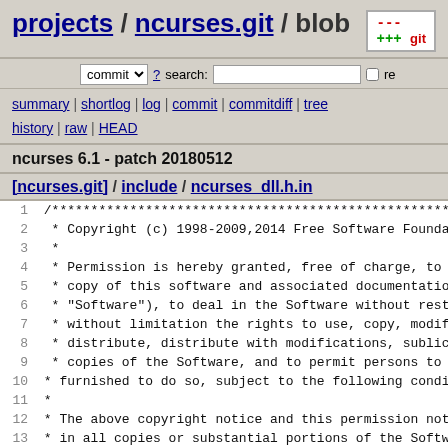projects / ncurses.git / blob
commit ? search: re
summary | shortlog | log | commit | commitdiff | tree history | raw | HEAD
ncurses 6.1 - patch 20180512
[ncurses.git] / include / ncurses_dll.h.in
1  /************************************************************
2   * Copyright (c) 1998-2009,2014 Free Software Foundatio
3   *
4   * Permission is hereby granted, free of charge, to any
5   * copy of this software and associated documentation f
6   * "Software"), to deal in the Software without restric
7   * without limitation the rights to use, copy, modify,
8   * distribute, distribute with modifications, sublicens
9   * copies of the Software, and to permit persons to who
10   * furnished to do so, subject to the following conditi
11   *
12   * The above copyright notice and this permission notic
13   * in all copies or substantial portions of the Softwar
14   *
15   * THE SOFTWARE IS PROVIDED "AS IS", WITHOUT WARRANTY O
16   * OR IMPLIED, INCLUDING BUT NOT LIMITED TO THE WARRANT
17   * MERCHANTABILITY, FITNESS FOR A PARTICULAR PURPOSE AN
18   * IN NO EVENT SHALL THE ABOVE COPYRIGHT HOLDERS BE LIA
19   * DAMAGES OR OTHER LIABILITY, WHETHER IN AN ACTION OF